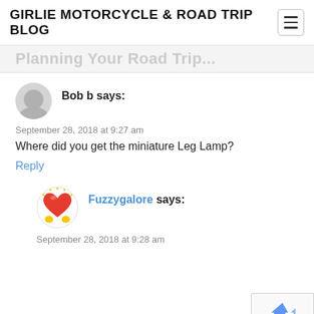GIRLIE MOTORCYCLE & ROAD TRIP BLOG
... (partially visible article title)
Bob b says:
September 28, 2018 at 9:27 am
Where did you get the miniature Leg Lamp?
Reply
Fuzzygalore says:
September 28, 2018 at 9:28 am